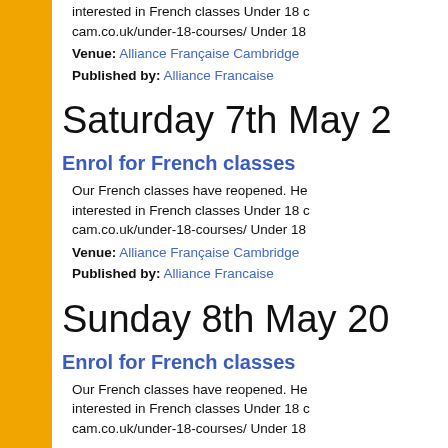interested in French classes Under 18 cam.co.uk/under-18-courses/ Under 18
Venue: Alliance Française Cambridge
Published by: Alliance Francaise
Saturday 7th May 2
Enrol for French classes
Our French classes have reopened. He interested in French classes Under 18 c cam.co.uk/under-18-courses/ Under 18
Venue: Alliance Française Cambridge
Published by: Alliance Francaise
Sunday 8th May 20
Enrol for French classes
Our French classes have reopened. He interested in French classes Under 18 c cam.co.uk/under-18-courses/ Under 18